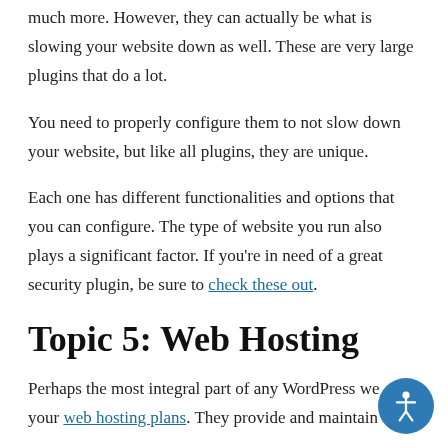much more. However, they can actually be what is slowing your website down as well. These are very large plugins that do a lot.
You need to properly configure them to not slow down your website, but like all plugins, they are unique.
Each one has different functionalities and options that you can configure. The type of website you run also plays a significant factor. If you're in need of a great security plugin, be sure to check these out.
Topic 5: Web Hosting
Perhaps the most integral part of any WordPress we... are your web hosting plans. They provide and maintain